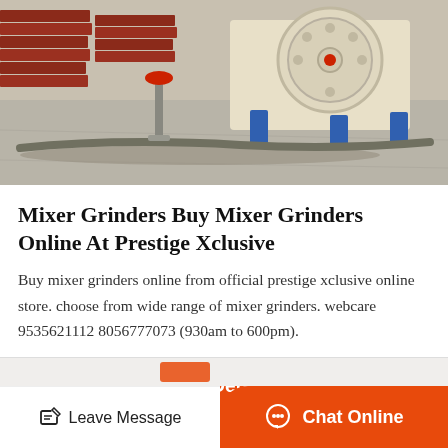[Figure (photo): Industrial machinery photo showing a jaw crusher or similar heavy equipment with a large flywheel, blue supports, and stacked metal plates on a concrete surface]
Mixer Grinders Buy Mixer Grinders Online At Prestige Xclusive
Buy mixer grinders online from official prestige xclusive online store. choose from wide range of mixer grinders. webcare 9535621112 8056777073 (930am to 600pm).
Get Details
Leave Message   Chat Online